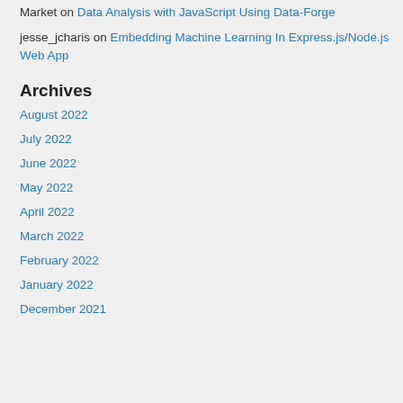Market on Data Analysis with JavaScript Using Data-Forge
jesse_jcharis on Embedding Machine Learning In Express.js/Node.js Web App
Archives
August 2022
July 2022
June 2022
May 2022
April 2022
March 2022
February 2022
January 2022
December 2021